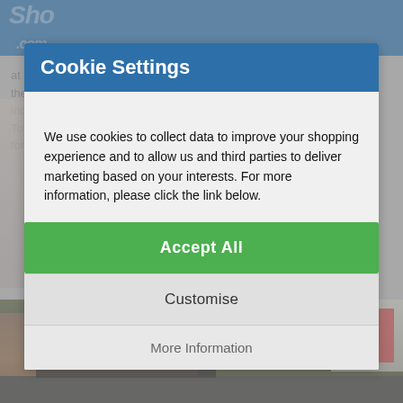[Figure (screenshot): Website cookie consent modal overlay on a shopping website. Blue header bar at top with white 'Cookie Settings' title. Modal contains body text about cookie usage, a green 'Accept All' button, a grey 'Customise' button, and a 'More Information' link. Background shows blurred/faded website content and a photo of a building with a brick gate at the bottom.]
Cookie Settings
We use cookies to collect data to improve your shopping experience and to allow us and third parties to deliver marketing based on your interests. For more information, please click the link below.
Accept All
Customise
More Information